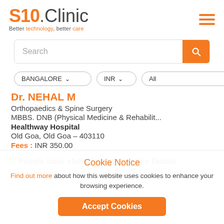[Figure (logo): S10.Clinic logo with tagline 'Better technology, better care']
Search
BANGALORE ∨   INR ∨   All ∨
Dr. NEHAL M
Orthopaedics & Spine Surgery
MBBS. DNB (Physical Medicine & Rehabilit...
Healthway Hospital
Old Goa, Old Goa – 403110
Fees : INR 350.00
70 People have shown interest in this Doctor
Cookie Notice
Find out more about how this website uses cookies to enhance your browsing experience.
Accept Cookies